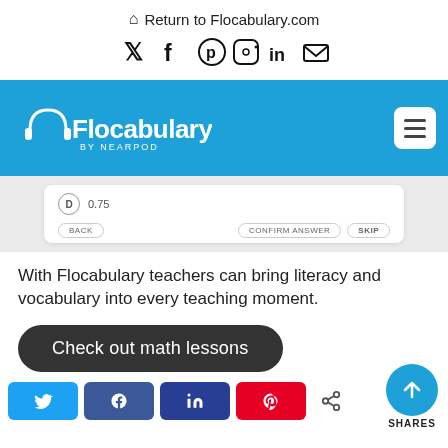🏠 Return to Flocabulary.com
[Figure (screenshot): Social media icons row: Twitter, Facebook, Pinterest, Instagram, LinkedIn, Email]
[Figure (screenshot): Flocabulary by Nearpod blue banner with hamburger menu button, and a quiz UI showing option D: 0.75 with BACK, CONFIRM ANSWER, SKIP buttons]
With Flocabulary teachers can bring literacy and vocabulary into every teaching moment.
[Figure (infographic): Dark rounded button: Check out math lessons]
[Figure (infographic): Social share buttons: Twitter (blue), Facebook (dark blue), LinkedIn (navy), Pinterest (red), share icon, and scroll-to-top circle button with SHARES label]